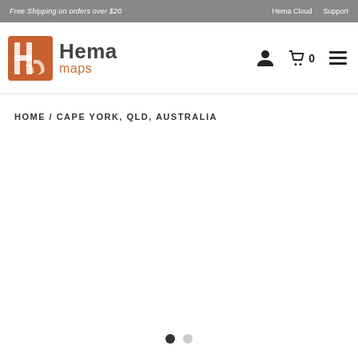Free Shipping on orders over $20 | Hema Cloud | Support
[Figure (logo): Hema Maps logo with orange H icon and text 'Hema maps']
HOME / CAPE YORK, QLD, AUSTRALIA
[Figure (other): Carousel navigation dots, one filled (active) and one empty (inactive)]